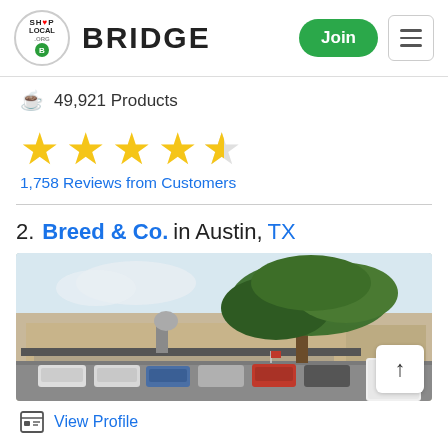Shop Local Bridge — Join
49,921 Products
[Figure (infographic): 4.5 star rating shown as 4 full yellow stars and 1 half yellow star]
1,758 Reviews from Customers
2. Breed & Co. in Austin, TX
[Figure (photo): Exterior photo of Breed & Co. store in Austin, TX with a large live oak tree in front of a tan/beige commercial strip building and parked cars in lot]
View Profile